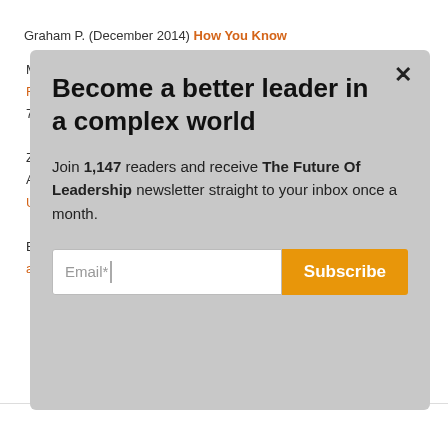Graham P. (December 2014) How You Know
M
F
7

Z
A
U

E
a
Become a better leader in a complex world
Join 1,147 readers and receive The Future Of Leadership newsletter straight to your inbox once a month.
Email*
Subscribe